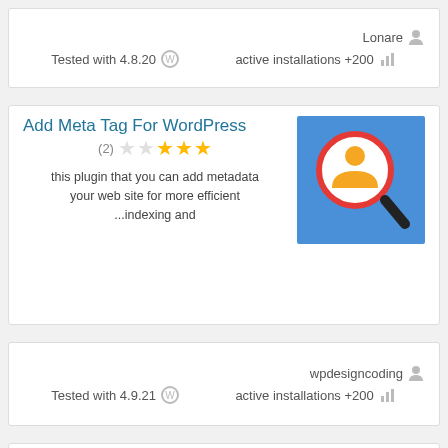Lonare
Tested with 4.8.20   active installations +200
Add Meta Tag For WordPress
(2) ★★★★★ (2 stars out of 5)
this plugin that you can add metadata your web site for more efficient ...indexing and
[Figure (illustration): Plugin thumbnail: orange person icon with magnifying glass on blue background]
wpdesigncoding
Tested with 4.9.21   active installations +200
WPSSO REST API
(6) ★★★★★ (5 stars)
Extends the WordPress REST API post, term, and user query results with an array of
[Figure (illustration): WPSSO plugin logo: WordPress logo with network nodes on green circular background]